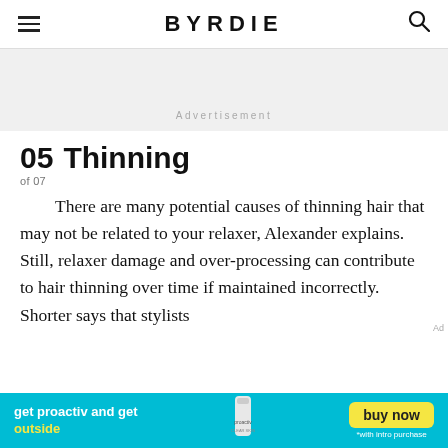BYRDIE
[Figure (infographic): Advertisement banner placeholder (light gray background with 'Advertisement' label)]
05 Thinning
of 07
There are many potential causes of thinning hair that may not be related to your relaxer, Alexander explains. Still, relaxer damage and over-processing can contribute to hair thinning over time if maintained incorrectly. Shorter says that stylists
[Figure (infographic): Proactiv advertisement banner: teal background, text 'get proactiv and get outside' with yellow 'outside', product image, yellow 'buy now' button, '*with intro purchase' text]